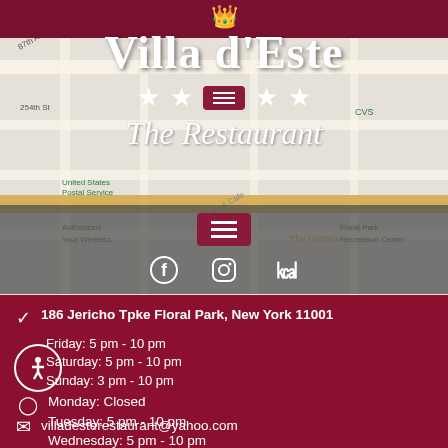[Figure (screenshot): Screenshot of Villa d'Este restaurant website/profile showing a Google Maps background, logo with crown, restaurant name 'Villa d'Este', four stars, 'The Restaurant' subtitle, hamburger menu buttons, and social media icons (Facebook, Instagram, Yelp). Below is a dark crimson info section with address, hours, and email.]
Villa d'Este
The Restaurant
186 Jericho Tpke Floral Park, New York 11001
Friday: 5 pm - 10 pm
Saturday: 5 pm - 10 pm
Sunday: 3 pm - 10 pm
Monday: Closed
Tuesday: 5 pm - 10 pm
Wednesday: 5 pm - 10 pm
Thursday: 5 pm - 10 pm
villadesterestaurant@yahoo.com